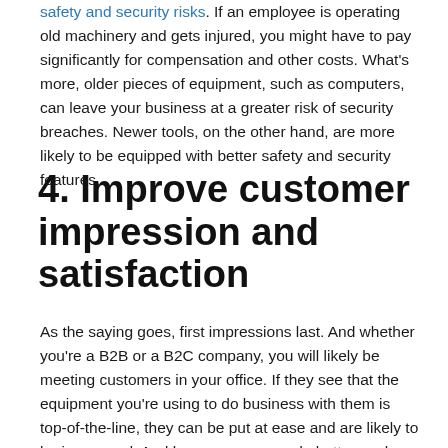safety and security risks. If an employee is operating old machinery and gets injured, you might have to pay significantly for compensation and other costs. What's more, older pieces of equipment, such as computers, can leave your business at a greater risk of security breaches. Newer tools, on the other hand, are more likely to be equipped with better safety and security features.
4. Improve customer impression and satisfaction
As the saying goes, first impressions last. And whether you're a B2B or a B2C company, you will likely be meeting customers in your office. If they see that the equipment you're using to do business with them is top-of-the-line, they can be put at ease and are likely to be impressed. And because you can do better work with these newer tools, you can serve them better, which